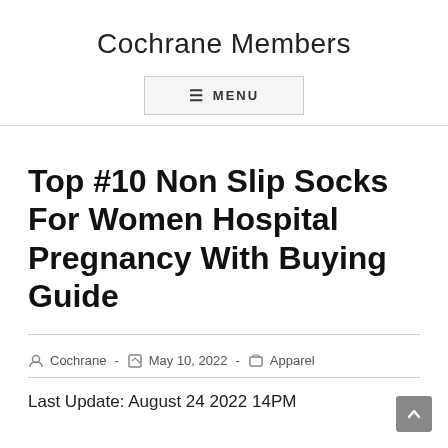Cochrane Members
Top #10 Non Slip Socks For Women Hospital Pregnancy With Buying Guide
Cochrane  -  May 10, 2022  -  Apparel
Last Update: August 24 2022 14PM